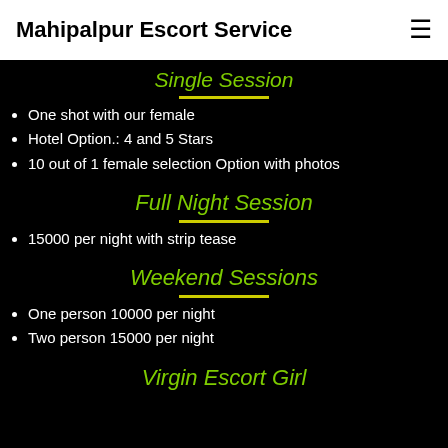Mahipalpur Escort Service
Single Session
One shot with our female
Hotel Option.: 4 and 5 Stars
10 out of 1 female selection Option with photos
Full Night Session
15000 per night with strip tease
Weekend Sessions
One person 10000 per night
Two person 15000 per night
Virgin Escort Girl